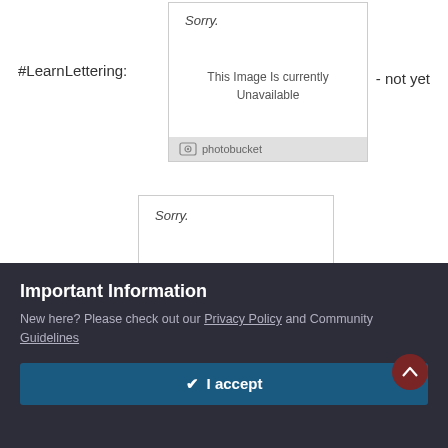#LearnLettering:
[Figure (screenshot): Photobucket placeholder showing 'Sorry. This Image Is currently Unavailable' with photobucket logo footer]
- not yet
[Figure (screenshot): Second Photobucket placeholder showing 'Sorry. This Image Is currently Unavailable' with photobucket logo footer]
#ArtsyFartsy:
- not yet
This week so far:
[Figure (screenshot): Third Photobucket placeholder showing 'Sorry.' partially visible]
Important Information
New here? Please check out our Privacy Policy and Community Guidelines
✔ I accept